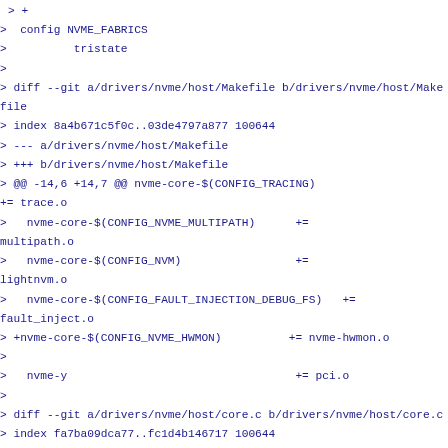> +
>  config NVME_FABRICS
>          tristate
>
> diff --git a/drivers/nvme/host/Makefile b/drivers/nvme/host/Makefile
> index 8a4b671c5f0c..03de4797a877 100644
> --- a/drivers/nvme/host/Makefile
> +++ b/drivers/nvme/host/Makefile
> @@ -14,6 +14,7 @@ nvme-core-$(CONFIG_TRACING)
+= trace.o
>   nvme-core-$(CONFIG_NVME_MULTIPATH)      +=
multipath.o
>   nvme-core-$(CONFIG_NVM)                 +=
lightnvm.o
>   nvme-core-$(CONFIG_FAULT_INJECTION_DEBUG_FS)   +=
fault_inject.o
> +nvme-core-$(CONFIG_NVME_HWMON)          += nvme-hwmon.o
>
>   nvme-y                                  += pci.o
>
> diff --git a/drivers/nvme/host/core.c b/drivers/nvme/host/core.c
> index fa7ba09dca77..fc1d4b146717 100644
> --- a/drivers/nvme/host/core.c
> +++ b/drivers/nvme/host/core.c
> @@ -2796,6 +2796,9 @@ int nvme_init_identify(struct nvme_ctrl *ctrl)
>          ctrl->oncs = le16_to_cpu(id->oncs);